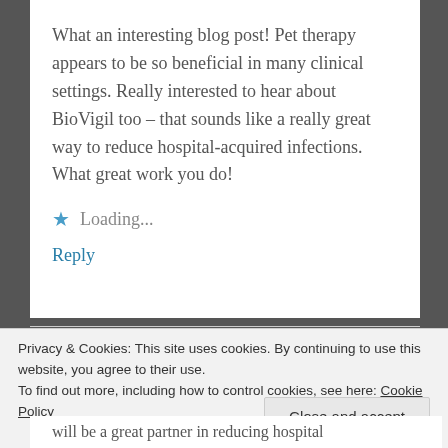What an interesting blog post! Pet therapy appears to be so beneficial in many clinical settings. Really interested to hear about BioVigil too – that sounds like a really great way to reduce hospital-acquired infections. What great work you do!
★ Loading...
Reply
Privacy & Cookies: This site uses cookies. By continuing to use this website, you agree to their use.
To find out more, including how to control cookies, see here: Cookie Policy
Close and accept
will be a great partner in reducing hospital